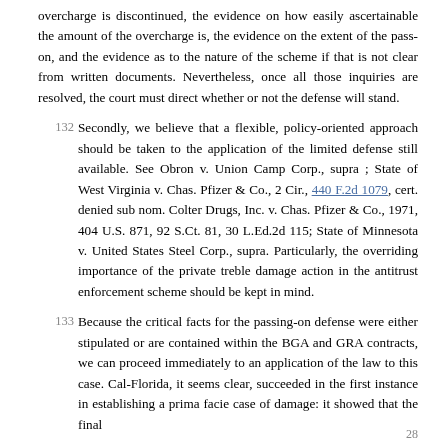overcharge is discontinued, the evidence on how easily ascertainable the amount of the overcharge is, the evidence on the extent of the pass-on, and the evidence as to the nature of the scheme if that is not clear from written documents. Nevertheless, once all those inquiries are resolved, the court must direct whether or not the defense will stand.
132 Secondly, we believe that a flexible, policy-oriented approach should be taken to the application of the limited defense still available. See Obron v. Union Camp Corp., supra ; State of West Virginia v. Chas. Pfizer & Co., 2 Cir., 440 F.2d 1079, cert. denied sub nom. Colter Drugs, Inc. v. Chas. Pfizer & Co., 1971, 404 U.S. 871, 92 S.Ct. 81, 30 L.Ed.2d 115; State of Minnesota v. United States Steel Corp., supra. Particularly, the overriding importance of the private treble damage action in the antitrust enforcement scheme should be kept in mind.
133 Because the critical facts for the passing-on defense were either stipulated or are contained within the BGA and GRA contracts, we can proceed immediately to an application of the law to this case. Cal-Florida, it seems clear, succeeded in the first instance in establishing a prima facie case of damage: it showed that the final
28